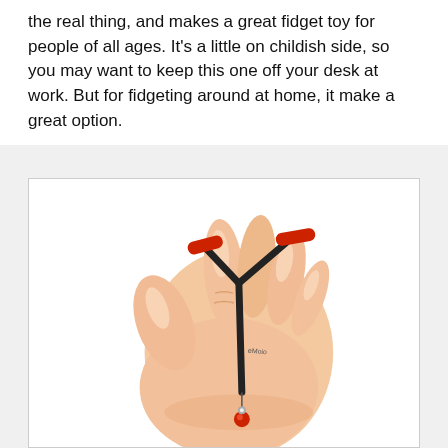the real thing, and makes a great fidget toy for people of all ages. It's a little on childish side, so you may want to keep this one off your desk at work. But for fidgeting around at home, it make a great option.
[Figure (photo): A hand holding a small black and red slingshot-style fidget toy. The toy has red rubber ends at the top forming a Y-shape, a black body, and a small red ball at the bottom on a string.]